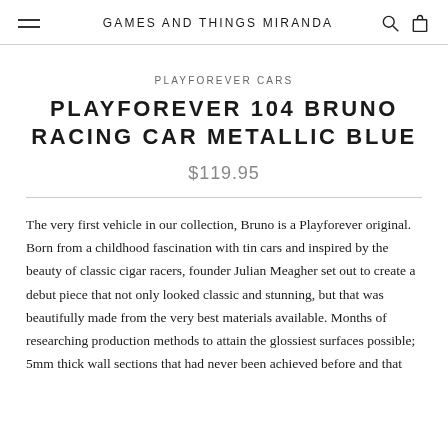GAMES AND THINGS MIRANDA
PLAYFOREVER CARS
PLAYFOREVER 104 BRUNO RACING CAR METALLIC BLUE
$119.95
The very first vehicle in our collection, Bruno is a Playforever original. Born from a childhood fascination with tin cars and inspired by the beauty of classic cigar racers, founder Julian Meagher set out to create a debut piece that not only looked classic and stunning, but that was beautifully made from the very best materials available. Months of researching production methods to attain the glossiest surfaces possible; 5mm thick wall sections that had never been achieved before and that